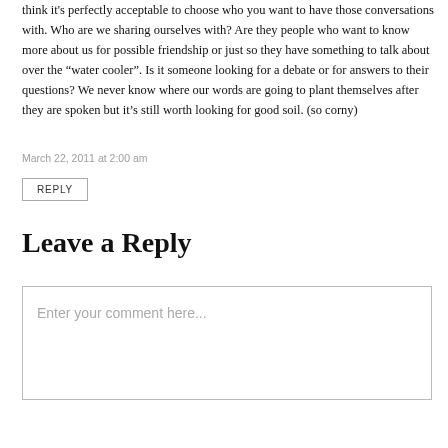think it's perfectly acceptable to choose who you want to have those conversations with. Who are we sharing ourselves with? Are they people who want to know more about us for possible friendship or just so they have something to talk about over the “water cooler”. Is it someone looking for a debate or for answers to their questions? We never know where our words are going to plant themselves after they are spoken but it’s still worth looking for good soil. (so corny)
March 22, 2011 at 2:00 am
REPLY
Leave a Reply
Enter your comment here...